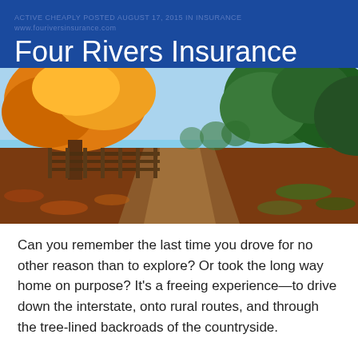ACTIVE CHEAPLY POSTED AUGUST 17, 2015 IN INSURANCE
www.fouriversinsurance.com
Four Rivers Insurance
[Figure (photo): Autumn country road lined with orange and yellow leaf trees on the left and green trees on the right, with a wooden fence and fallen leaves covering the ground]
Can you remember the last time you drove for no other reason than to explore? Or took the long way home on purpose? It's a freeing experience—to drive down the interstate, onto rural routes, and through the tree-lined backroads of the countryside.